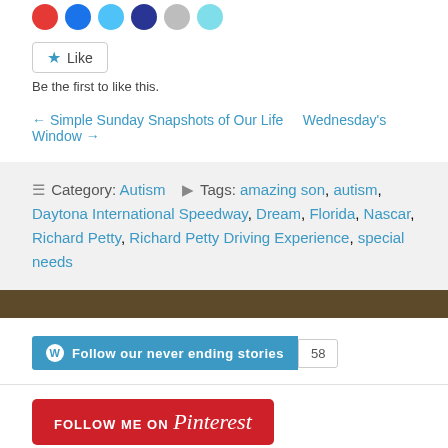[Figure (other): Row of social media sharing icon circles (red, blue, light blue, dark blue, grey, light blue)]
Like
Be the first to like this.
← Simple Sunday Snapshots of Our Life   Wednesday's Window →
Category: Autism   Tags: amazing son, autism, Daytona International Speedway, Dream, Florida, Nascar, Richard Petty, Richard Petty Driving Experience, special needs
[Figure (other): WordPress Follow button: 'Follow our never ending stories' with follower count 58]
[Figure (other): Pinterest 'Follow Me on Pinterest' red button]
Who You Are